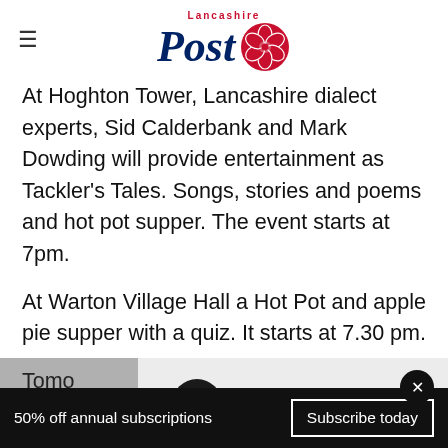Lancashire Post
At Hoghton Tower, Lancashire dialect experts, Sid Calderbank and Mark Dowding will provide entertainment as Tackler's Tales. Songs, stories and poems and hot pot supper. The event starts at 7pm.
At Warton Village Hall a Hot Pot and apple pie supper with a quiz. It starts at 7.30 pm.
Tomo... are holdi... m
[Figure (screenshot): Advertisement overlay showing in-store shopping ad with circular logo icon, checkmark, text 'In-store shopping', and navigation diamond icon]
50% off annual subscriptions  Subscribe today